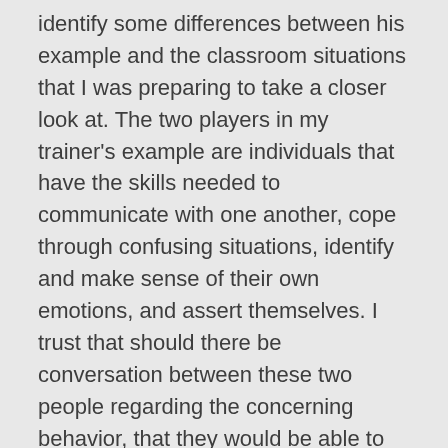identify some differences between his example and the classroom situations that I was preparing to take a closer look at. The two players in my trainer's example are individuals that have the skills needed to communicate with one another, cope through confusing situations, identify and make sense of their own emotions, and assert themselves. I trust that should there be conversation between these two people regarding the concerning behavior, that they would be able to walk away having a better understanding of the why and how of these interactions and make any changes necessary in order to work toward building a more positive relationship.
It pays to pause